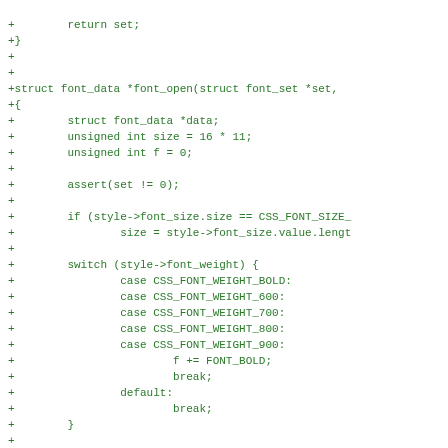[Figure (other): Source code diff showing C code for font_open function with green plus signs indicating added lines]